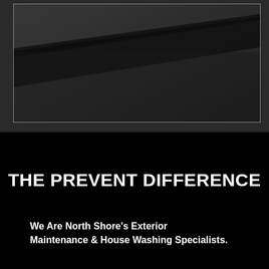[Figure (photo): Dark photograph showing a close-up of what appears to be a dark exterior surface or roofline with a diagonal shadow/ridge line, framed with a thin light border, set against a dark gray background.]
THE PREVENT DIFFERENCE
We Are North Shore's Exterior Maintenance & House Washing Specialists.